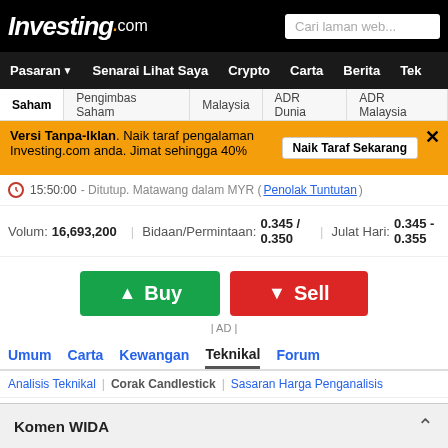Investing.com — Cari laman web...
Pasaran  Senarai Lihat Saya  Crypto  Carta  Berita  Tek
Saham  Pengimbas Saham  Malaysia  ADR Dunia  ADR Malaysia
Versi Tanpa-Iklan. Naik taraf pengalaman Investing.com anda. Jimat sehingga 40%  Naik Taraf Sekarang
15:50:00 - Ditutup. Matawang dalam MYR ( Penolak Tuntutan )
Volum: 16,693,200  |  Bidaan/Permintaan: 0.345 / 0.350  |  Julat Hari: 0.345 - 0.355
[Figure (screenshot): Buy and Sell buttons for trading]
| AD |
Umum  Carta  Kewangan  Teknikal  Forum
Analisis Teknikal  |  Corak Candlestick  |  Sasaran Harga Penganalisis
Corak Candlestick WIDA
Komen WIDA